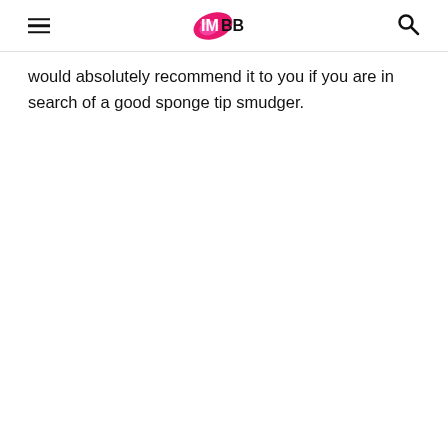IMBB
would absolutely recommend it to you if you are in search of a good sponge tip smudger.